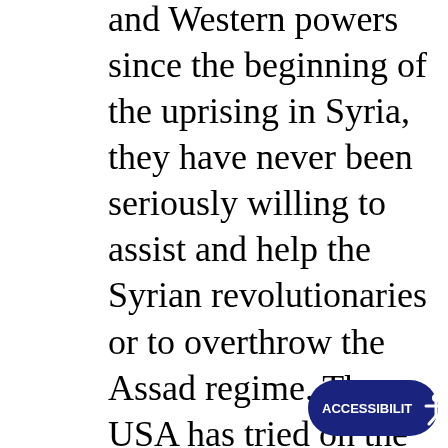and Western powers since the beginning of the uprising in Syria, they have never been seriously willing to assist and help the Syrian revolutionaries or to overthrow the Assad regime. The USA has tried on the opposite to reach an agreement between the Assad regime (or section of it) and the opposition linked to Western and the Gulf regimes, which are not representative of the popular movement and are completely corrupted. In October 2015, even Senator Lindsey Graham challenged Defence Secretary Ashton Carter and Joint Chiefs of Staff Chair General Joseph Dunford on the